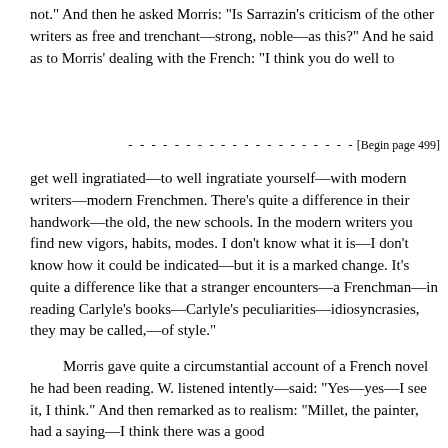not." And then he asked Morris: "Is Sarrazin's criticism of the other writers as free and trenchant—strong, noble—as this?" And he said as to Morris' dealing with the French: "I think you do well to
- - - - - - - - - - - - - - - - - - - - [Begin page 499]
get well ingratiated—to well ingratiate yourself—with modern writers—modern Frenchmen. There's quite a difference in their handwork—the old, the new schools. In the modern writers you find new vigors, habits, modes. I don't know what it is—I don't know how it could be indicated—but it is a marked change. It's quite a difference like that a stranger encounters—a Frenchman—in reading Carlyle's books—Carlyle's peculiarities—idiosyncrasies, they may be called,—of style."
Morris gave quite a circumstantial account of a French novel he had been reading. W. listened intently—said: "Yes—yes—I see it, I think." And then remarked as to realism: "Millet, the painter, had a saying—I think there was a good